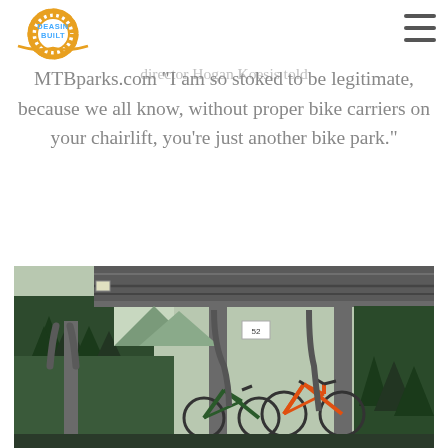DeasinBuilt.com logo and hamburger menu
Murray-Latta carriers along with their a supplies. When Angel Fire first 38 sets last year, bike park director Hogan Koesis told
MTBparks.com "I am so stoked to be legitimate, because we all know, without proper bike carriers on your chairlift, you’re just another bike park."
[Figure (photo): Chairlift at a mountain bike park with mountain bikes hanging on the lift carriers, trees and mountain landscape visible in background, overcast sky.]